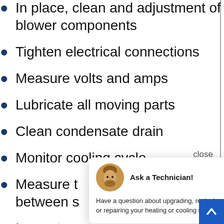In place, clean and adjustment of blower components
Tighten electrical connections
Measure volts and amps
Lubricate all moving parts
Clean condensate drain
Monitor cooling cycle
Measure t[emperature differential] between s[upply and return]
Inspect ev[aporator coil]
Examine installation quality
Examine equipment condition area,
[Figure (illustration): Popup chat widget with avatar of a technician (bearded man), bold heading 'Ask a Technician!', and body text 'Have a question about upgrading, replacing, or repairing your heating or cooling system?'. A 'close' link appears top right. A blue scroll-to-top arrow button is in the bottom right corner.]